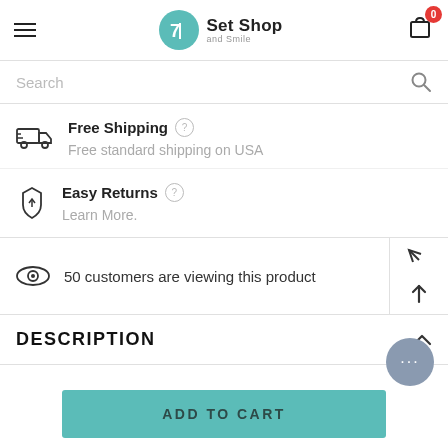Set Shop and Smile
Search
Free Shipping — Free standard shipping on USA
Easy Returns — Learn More.
50 customers are viewing this product
DESCRIPTION
ADD TO CART